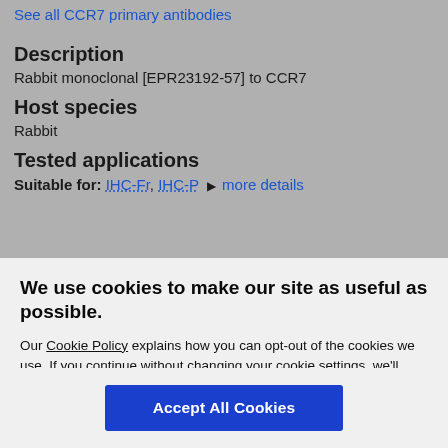Anti-CCR7 antibody [EPR23192-57]
See all CCR7 primary antibodies
Description
Rabbit monoclonal [EPR23192-57] to CCR7
Host species
Rabbit
Tested applications
Suitable for: IHC-Fr, IHC-P  ▶ more details
We use cookies to make our site as useful as possible.
Our Cookie Policy explains how you can opt-out of the cookies we use. If you continue without changing your cookie settings, we'll assume you're happy with this.
Accept All Cookies